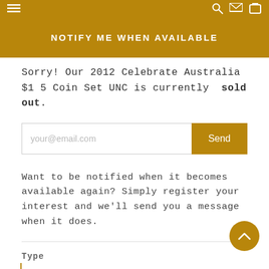NOTIFY ME WHEN AVAILABLE
Sorry! Our 2012 Celebrate Australia $1 5 Coin Set UNC is currently sold out.
your@email.com  Send
Want to be notified when it becomes available again? Simply register your interest and we'll send you a message when it does.
Type
With Album  Without Album